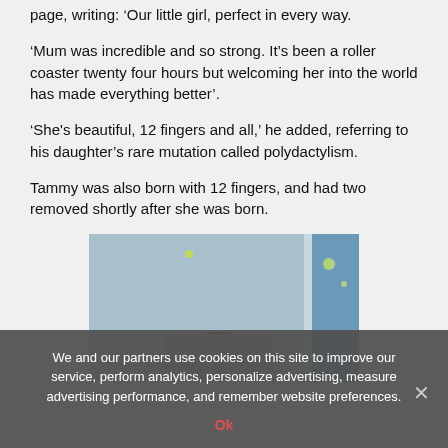page, writing: ‘Our little girl, perfect in every way.
‘Mum was incredible and so strong. It’s been a roller coaster twenty four hours but welcoming her into the world has made everything better’.
‘She’s beautiful, 12 fingers and all,’ he added, referring to his daughter’s rare mutation called polydactylism.
Tammy was also born with 12 fingers, and had two removed shortly after she was born.
[Figure (photo): Partial photo of a woman with blonde hair, partially visible from the top]
We and our partners use cookies on this site to improve our service, perform analytics, personalize advertising, measure advertising performance, and remember website preferences.